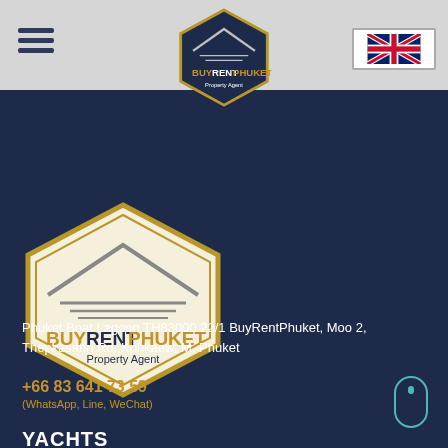[Figure (logo): BuyRentPhuket Property Agent hexagonal logo in nav bar]
[Figure (logo): UK flag icon in top right of nav bar]
[Figure (logo): BuyRentPhuket Property Agent large hexagonal logo on dark blue background]
Phuket Boat Lagoon TH83000 22/1 BuyRentPhuket, Moo 2, Thepkasattri Rd.,Kohkaew, M. Phuket
+66 83 641 73 59
(WhatsApp, Line, WeChat)
YACHTS
Motor Boats